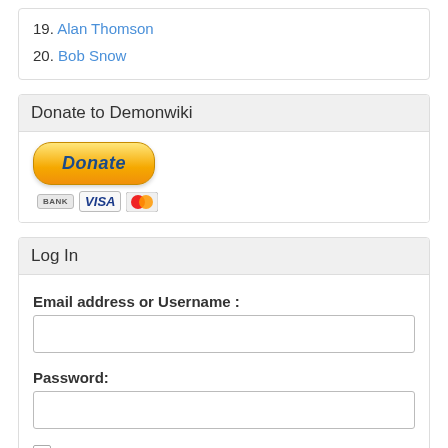19. Alan Thomson
20. Bob Snow
Donate to Demonwiki
[Figure (other): PayPal Donate button with Bank, VISA, and Mastercard logos below]
Log In
Email address or Username :
Password:
Remember me (for 1 year)